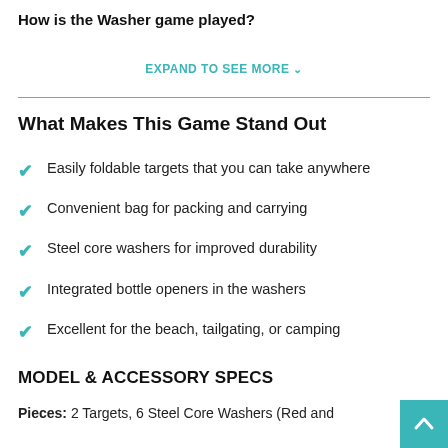How is the Washer game played?
EXPAND TO SEE MORE ∨
What Makes This Game Stand Out
Easily foldable targets that you can take anywhere
Convenient bag for packing and carrying
Steel core washers for improved durability
Integrated bottle openers in the washers
Excellent for the beach, tailgating, or camping
MODEL & ACCESSORY SPECS
Pieces: 2 Targets, 6 Steel Core Washers (Red and